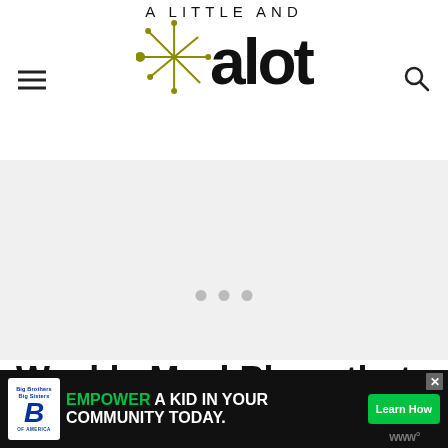A Little and A Lot — blog header logo with navigation
[Figure (screenshot): Large mostly white/grey area representing a loading or blank content section with three grey loading dots]
Weekly Meal Plans that
[Figure (infographic): Advertisement banner: Big Brothers Big Sisters — EMPOWER A KID IN YOUR COMMUNITY TODAY. Learn How button. Close X button. Wibbitz logo.]